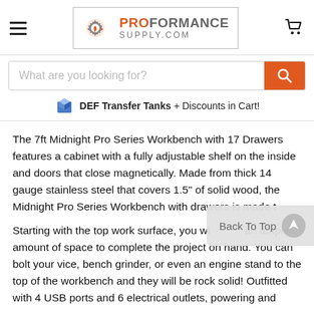[Figure (logo): ProFormance Supply.com logo with gear/flame icon, orange and grey text, inside a bordered box]
What are you looking for?
DEF Transfer Tanks + Discounts in Cart!
The 7ft Midnight Pro Series Workbench with 17 Drawers features a cabinet with a fully adjustable shelf on the inside and doors that close magnetically. Made from thick 14 gauge stainless steel that covers 1.5" of solid wood, the Midnight Pro Series Workbench with drawers is made t
Starting with the top work surface, you wi an ample amount of space to complete the project on hand. You can bolt your vice, bench grinder, or even an engine stand to the top of the workbench and they will be rock solid! Outfitted with 4 USB ports and 6 electrical outlets, powering and